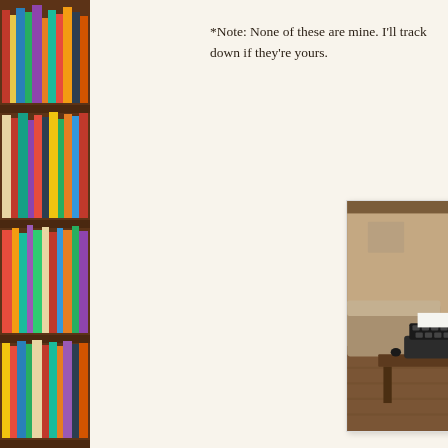[Figure (photo): Bookshelf filled with colorful books arranged on wooden shelves, spanning the full left side of the page]
*Note: None of these are mine. I'll track down if they're yours.
[Figure (photo): Photo in a white frame showing a vintage typewriter on a wooden desk in a warmly lit room with furniture in the background]